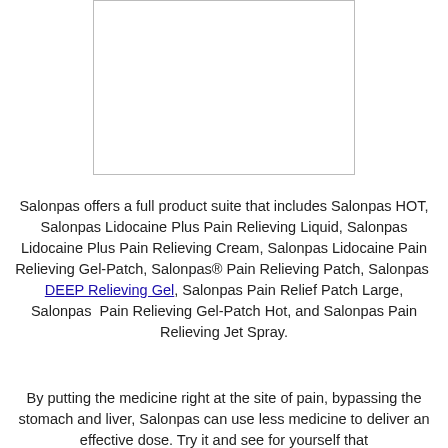[Figure (photo): White rectangular image placeholder with light gray border]
Salonpas offers a full product suite that includes Salonpas HOT, Salonpas Lidocaine Plus Pain Relieving Liquid, Salonpas Lidocaine Plus Pain Relieving Cream, Salonpas Lidocaine Pain Relieving Gel-Patch, Salonpas® Pain Relieving Patch, Salonpas DEEP Relieving Gel, Salonpas Pain Relief Patch Large, Salonpas Pain Relieving Gel-Patch Hot, and Salonpas Pain Relieving Jet Spray.
By putting the medicine right at the site of pain, bypassing the stomach and liver, Salonpas can use less medicine to deliver an effective dose. Try it and see for yourself that